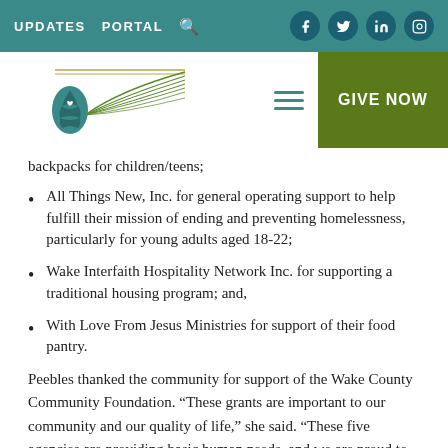UPDATES  PORTAL  [search icon]  [social icons: f, twitter, linkedin, instagram]
[Figure (logo): Organization logo with teal pine cone and green feather-like leaves with horizontal lines above. Menu icon (hamburger) and GIVE NOW button.]
backpacks for children/teens;
All Things New, Inc. for general operating support to help fulfill their mission of ending and preventing homelessness, particularly for young adults aged 18-22;
Wake Interfaith Hospitality Network Inc. for supporting a traditional housing program; and,
With Love From Jesus Ministries for support of their food pantry.
Peebles thanked the community for support of the Wake County Community Foundation. “These grants are important to our community and our quality of life,” she said. “These five agencies are providing basic human needs, and we are proud to be able to support them through contributions from the community.”